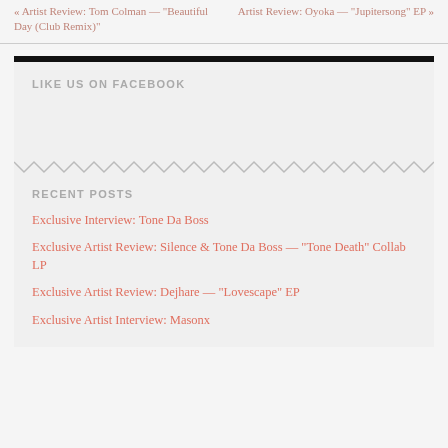« Artist Review: Tom Colman — "Beautiful Day (Club Remix)"
Artist Review: Oyoka — "Jupitersong" EP »
LIKE US ON FACEBOOK
RECENT POSTS
Exclusive Interview: Tone Da Boss
Exclusive Artist Review: Silence & Tone Da Boss — "Tone Death" Collab LP
Exclusive Artist Review: Dejhare — "Lovescape" EP
Exclusive Artist Interview: Masonx